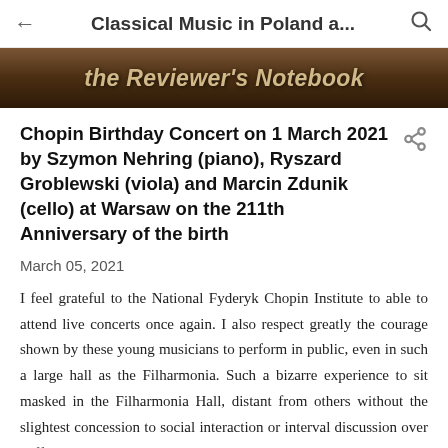← Classical Music in Poland a... 🔍
[Figure (photo): Dark wooden banner with italic text reading 'the Reviewer's Notebook']
Chopin Birthday Concert on 1 March 2021 by Szymon Nehring (piano), Ryszard Groblewski (viola) and Marcin Zdunik (cello) at Warsaw on the 211th Anniversary of the birth
March 05, 2021
I feel grateful to the National Fyderyk Chopin Institute to able to attend live concerts once again. I also respect greatly the courage shown by these young musicians to perform in public, even in such a large hall as the Filharmonia. Such a bizarre experience to sit masked in the Filharmonia Hall, distant from others without the slightest concession to social interaction or interval discussion over coffee...